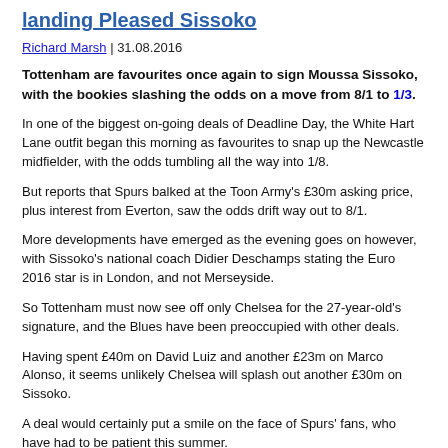landing Pleased Sissoko
Richard Marsh | 31.08.2016
Tottenham are favourites once again to sign Moussa Sissoko, with the bookies slashing the odds on a move from 8/1 to 1/3.
In one of the biggest on-going deals of Deadline Day, the White Hart Lane outfit began this morning as favourites to snap up the Newcastle midfielder, with the odds tumbling all the way into 1/8.
But reports that Spurs balked at the Toon Army's £30m asking price, plus interest from Everton, saw the odds drift way out to 8/1.
More developments have emerged as the evening goes on however, with Sissoko's national coach Didier Deschamps stating the Euro 2016 star is in London, and not Merseyside.
So Tottenham must now see off only Chelsea for the 27-year-old's signature, and the Blues have been preoccupied with other deals.
Having spent £40m on David Luiz and another £23m on Marco Alonso, it seems unlikely Chelsea will splash out another £30m on Sissoko.
A deal would certainly put a smile on the face of Spurs' fans, who have had to be patient this summer.
Mauricio Pochettino has welcomed just three men to White Hart Lane this summer – and one of those was this afternoon – while rival clubs have